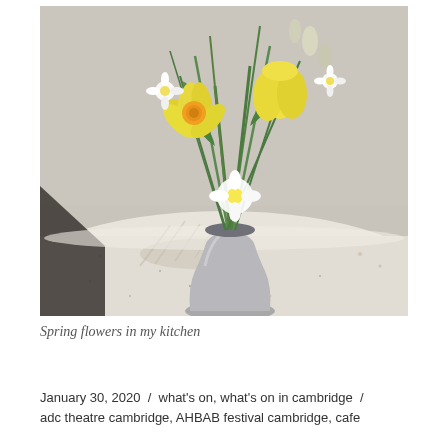[Figure (photo): A grey ceramic vase with spring flowers including yellow daffodils, white small flowers, and green stems, placed on a light granite/marble countertop surface. A shadow of the flowers is visible on the surface. Background is a grey speckled wall.]
Spring flowers in my kitchen
January 30, 2020 / what's on, what's on in cambridge / adc theatre cambridge, AHBAB festival cambridge, cafe